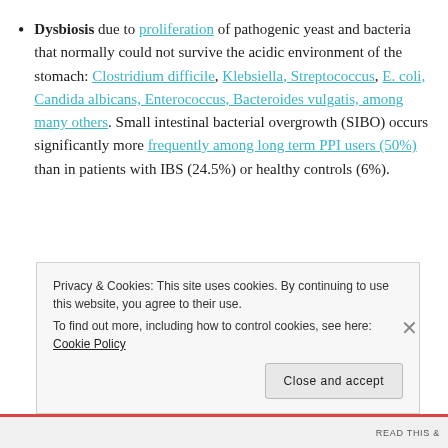Dysbiosis due to proliferation of pathogenic yeast and bacteria that normally could not survive the acidic environment of the stomach: Clostridium difficile, Klebsiella, Streptococcus, E. coli, Candida albicans, Enterococcus, Bacteroides vulgatis, among many others. Small intestinal bacterial overgrowth (SIBO) occurs significantly more frequently among long term PPI users (50%) than in patients with IBS (24.5%) or healthy controls (6%).
Privacy & Cookies: This site uses cookies. By continuing to use this website, you agree to their use. To find out more, including how to control cookies, see here: Cookie Policy
Close and accept